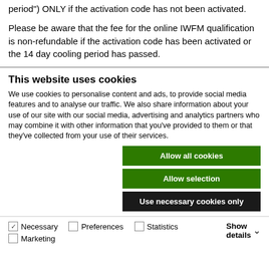period") ONLY if the activation code has not been activated.
Please be aware that the fee for the online IWFM qualification is non-refundable if the activation code has been activated or the 14 day cooling period has passed.
This website uses cookies
We use cookies to personalise content and ads, to provide social media features and to analyse our traffic. We also share information about your use of our site with our social media, advertising and analytics partners who may combine it with other information that you've provided to them or that they've collected from your use of their services.
Allow all cookies
Allow selection
Use necessary cookies only
Necessary  Preferences  Statistics  Marketing  Show details